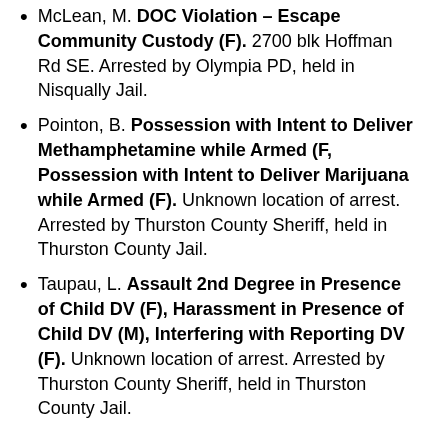McLean, M. DOC Violation – Escape Community Custody (F). 2700 blk Hoffman Rd SE. Arrested by Olympia PD, held in Nisqually Jail.
Pointon, B. Possession with Intent to Deliver Methamphetamine while Armed (F, Possession with Intent to Deliver Marijuana while Armed (F). Unknown location of arrest. Arrested by Thurston County Sheriff, held in Thurston County Jail.
Taupau, L. Assault 2nd Degree in Presence of Child DV (F), Harassment in Presence of Child DV (M), Interfering with Reporting DV (F). Unknown location of arrest. Arrested by Thurston County Sheriff, held in Thurston County Jail.